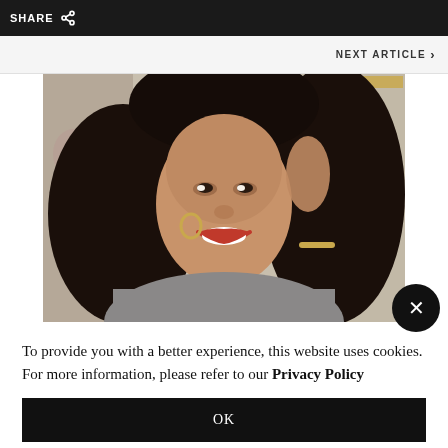SHARE
NEXT ARTICLE
[Figure (photo): Portrait of a smiling woman with long curly dark hair and red lipstick, wearing a gray top and gold bracelet, posed against a floral wallpaper background with a gold-framed mirror]
To provide you with a better experience, this website uses cookies. For more information, please refer to our Privacy Policy
OK